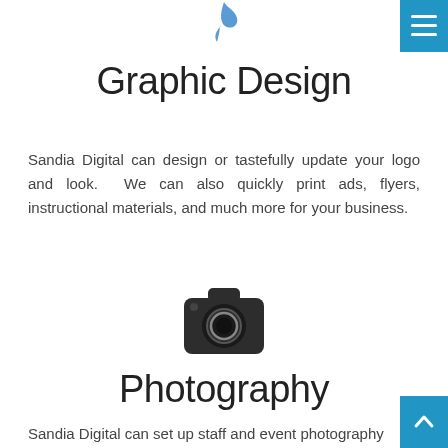[Figure (logo): Blue bird/feather logo icon at top center]
[Figure (illustration): Blue hamburger menu button icon at top right]
Graphic Design
Sandia Digital can design or tastefully update your logo and look. We can also quickly print ads, flyers, instructional materials, and much more for your business.
[Figure (illustration): Dark camera icon, centered]
Photography
[Figure (illustration): Blue up-arrow button at bottom right]
Sandia Digital can set up staff and event photography